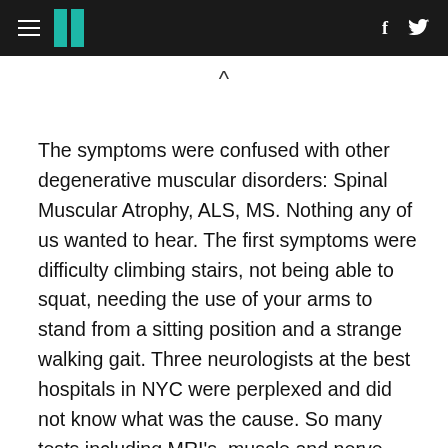HuffPost navigation header with hamburger menu, logo, Facebook and Twitter icons
The symptoms were confused with other degenerative muscular disorders: Spinal Muscular Atrophy, ALS, MS. Nothing any of us wanted to hear. The first symptoms were difficulty climbing stairs, not being able to squat, needing the use of your arms to stand from a sitting position and a strange walking gait. Three neurologists at the best hospitals in NYC were perplexed and did not know what was the cause. So many tests including MRI's, muscle and nerve biopsies, nerve tests that are painful and truly no